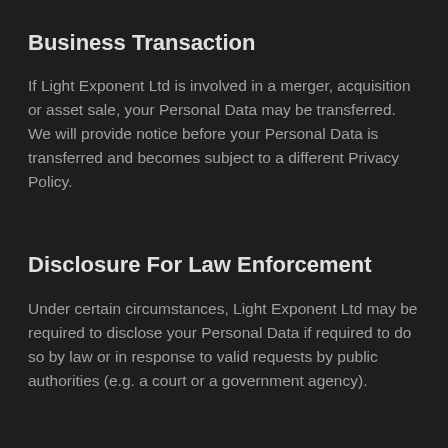Business Transaction
If Light Exponent Ltd is involved in a merger, acquisition or asset sale, your Personal Data may be transferred. We will provide notice before your Personal Data is transferred and becomes subject to a different Privacy Policy.
Disclosure For Law Enforcement
Under certain circumstances, Light Exponent Ltd may be required to disclose your Personal Data if required to do so by law or in response to valid requests by public authorities (e.g. a court or a government agency).